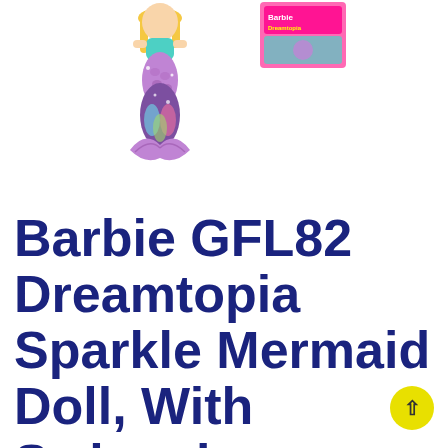[Figure (photo): Barbie mermaid doll with purple glitter tail, teal top, blonde hair, shown next to product packaging box with colorful Barbie Dreamtopia branding]
Barbie GFL82 Dreamtopia Sparkle Mermaid Doll, With Swimming Motion And Underwater Light Shows